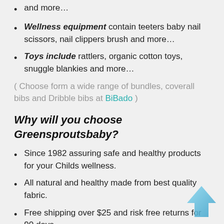and more…
Wellness equipment contain teeters baby nail scissors, nail clippers brush and more…
Toys include rattlers, organic cotton toys, snuggle blankies and more…
( Choose form a wide range of bundles, coverall bibs and Dribble bibs at BiBado )
Why will you choose Greensproutsbaby?
Since 1982 assuring safe and healthy products for your Childs wellness.
All natural and healthy made from best quality fabric.
Free shipping over $25 and risk free returns for 90 days.